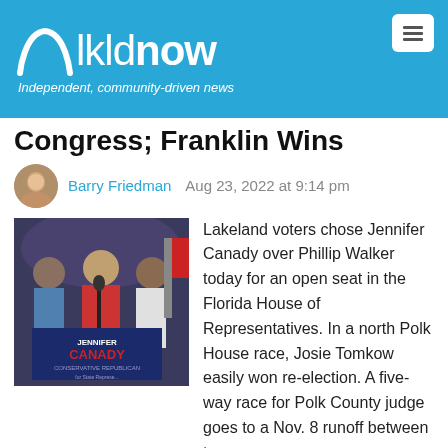lkldnow — Independent, community-driven news
Congress; Franklin Wins
Barry Friedman   Aug 23, 2022 at 9:14 pm
[Figure (photo): Jennifer Canady at a campaign event standing at a podium with a campaign sign reading JENNIFER CANADY CONSERVATIVE REPUBLICAN, with two other women nearby]
Canady
Lakeland voters chose Jennifer Canady over Phillip Walker today for an open seat in the Florida House of Representatives. In a north Polk House race, Josie Tomkow easily won re-election. A five-way race for Polk County judge goes to a Nov. 8 runoff between top vote-getters John Flynn and Ruth Moracen Knight. In one of the two U.S. House races involving Lakeland districts